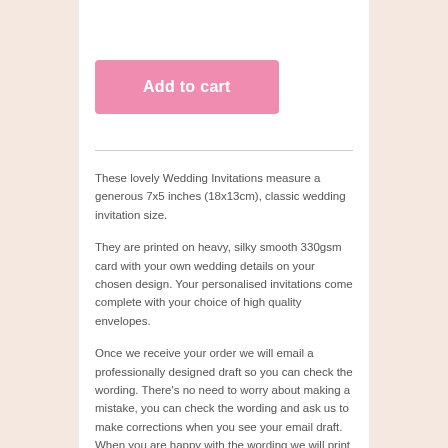[Figure (other): Pink 'Add to cart' button]
These lovely Wedding Invitations measure a generous 7x5 inches (18x13cm), classic wedding invitation size.
They are printed on heavy, silky smooth 330gsm card with your own wedding details on your chosen design. Your personalised invitations come complete with your choice of high quality envelopes.
Once we receive your order we will email a professionally designed draft so you can check the wording. There’s no need to worry about making a mistake, you can check the wording and ask us to make corrections when you see your email draft. When you are happy with the wording we will print your order.
Matching R.S.V.P. Cards, Poem Cards and Information Cards are available as an additional order in this design.